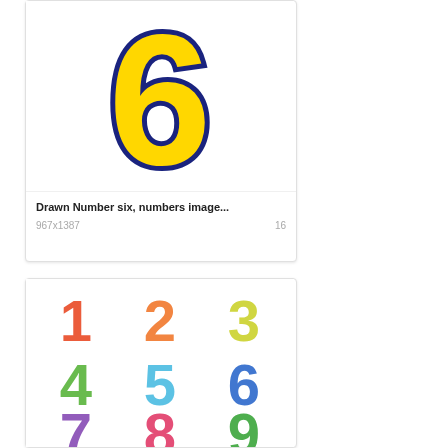[Figure (illustration): Large yellow number 6 with dark blue outline on white background]
Drawn Number six, numbers image...
967x1387    16
[Figure (illustration): Colorful numbers 1 through 9 arranged in a 3x3 grid, made of small text/patterns, each in a different color: red 1, orange 2, yellow-green 3, green 4, light blue 5, blue 6, purple 7, pink/red 8, green 9]